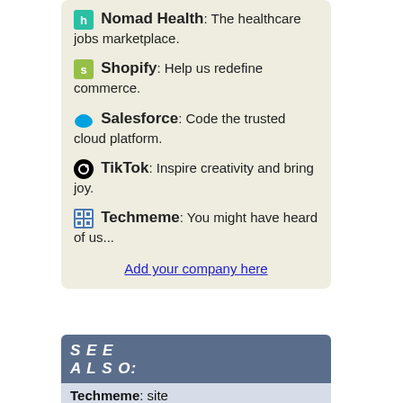Nomad Health: The healthcare jobs marketplace.
Shopify: Help us redefine commerce.
Salesforce: Code the trusted cloud platform.
TikTok: Inspire creativity and bring joy.
Techmeme: You might have heard of us...
Add your company here
[Figure (other): SEE ALSO section header banner in blue-grey]
Techmeme: site